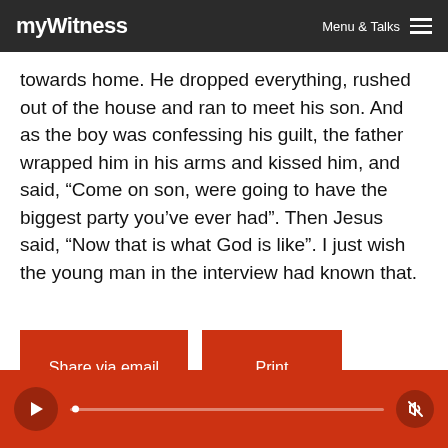myWitness | Menu & Talks
towards home. He dropped everything, rushed out of the house and ran to meet his son. And as the boy was confessing his guilt, the father wrapped him in his arms and kissed him, and said, “Come on son, were going to have the biggest party you’ve ever had”. Then Jesus said, “Now that is what God is like”. I just wish the young man in the interview had known that.
[Figure (screenshot): Two red buttons: 'Share via email' and 'Print']
[Figure (screenshot): Red audio player bar with play button, progress track, and volume button]